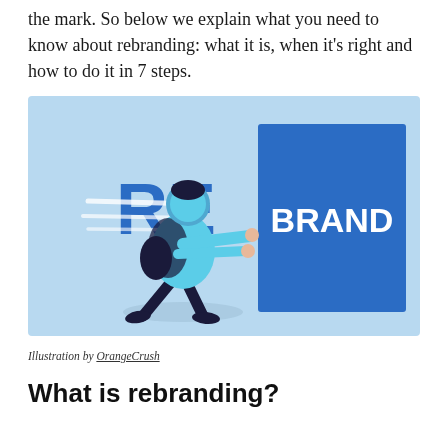the mark. So below we explain what you need to know about rebranding: what it is, when it's right and how to do it in 7 steps.
[Figure (illustration): Illustration of a person in a light blue shirt pushing a large blue 'BRAND' sign, with 'RE' text visible to the left, all on a light blue background.]
Illustration by OrangeCrush
What is rebranding?